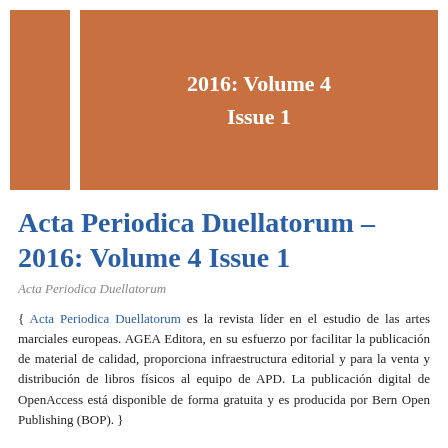[Figure (other): Orange/terracotta cover banner with two rectangular blocks — a narrow left column and a wide main rectangle — containing the text '2016: Volume 4 Issue 1' in white bold serif font centered on the main block.]
Acta Periodica Duellatorum – 2016: Volume 4 Issue 1
Acta Periodica Duellatorum
{ Acta Periodica Duellatorum es la revista líder en el estudio de las artes marciales europeas. AGEA Editora, en su esfuerzo por facilitar la publicación de material de calidad, proporciona infraestructura editorial y para la venta y distribución de libros físicos al equipo de APD. La publicación digital de OpenAccess está disponible de forma gratuita y es producida por Bern Open Publishing (BOP). }